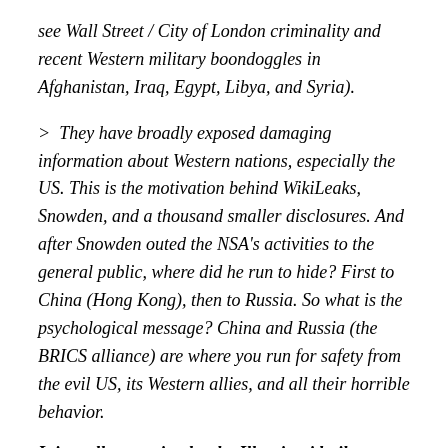see Wall Street / City of London criminality and recent Western military boondoggles in Afghanistan, Iraq, Egypt, Libya, and Syria).
> They have broadly exposed damaging information about Western nations, especially the US. This is the motivation behind WikiLeaks, Snowden, and a thousand smaller disclosures. And after Snowden outed the NSA's activities to the general public, where did he run to hide? First to China (Hong Kong), then to Russia. So what is the psychological message? China and Russia (the BRICS alliance) are where you run for safety from the evil US, its Western allies, and all their horrible behavior.
It is really very simple: the Illuminati built a rabbit